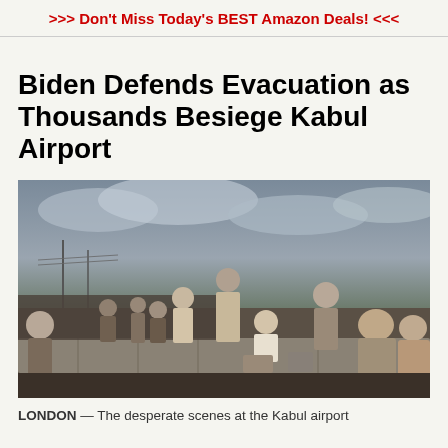>>> Don't Miss Today's BEST Amazon Deals! <<<
Biden Defends Evacuation as Thousands Besiege Kabul Airport
[Figure (photo): Crowd of Afghan people, many standing and sitting on concrete barriers outside Kabul airport, with a cloudy sky in the background.]
LONDON — The desperate scenes at the Kabul airport